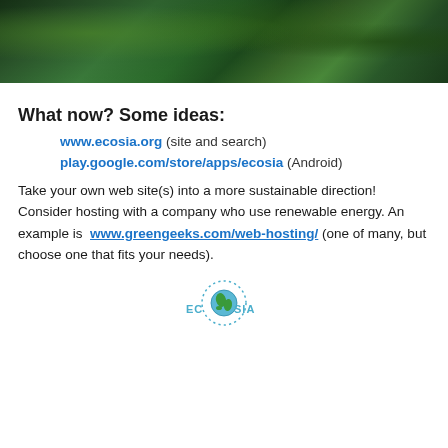[Figure (photo): Forest/jungle scene with dense green foliage and misty trees]
What now? Some ideas:
www.ecosia.org (site and search)
play.google.com/store/apps/ecosia (Android)
Take your own web site(s) into a more sustainable direction! Consider hosting with a company who use renewable energy. An example is  www.greengeeks.com/web-hosting/ (one of many, but choose one that fits your needs).
[Figure (logo): Ecosia logo — circular badge with earth globe and text ECOSIA with dotted ring]